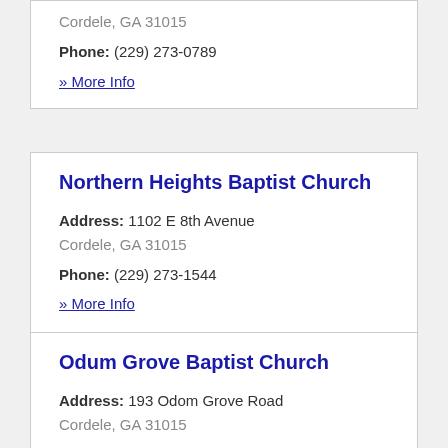Address: 619 W 20th Avenue Cordele, GA 31015
Phone: (229) 273-0789
» More Info
Northern Heights Baptist Church
Address: 1102 E 8th Avenue Cordele, GA 31015
Phone: (229) 273-1544
» More Info
Odum Grove Baptist Church
Address: 193 Odom Grove Road Cordele, GA 31015
Phone: (229) 273-0070